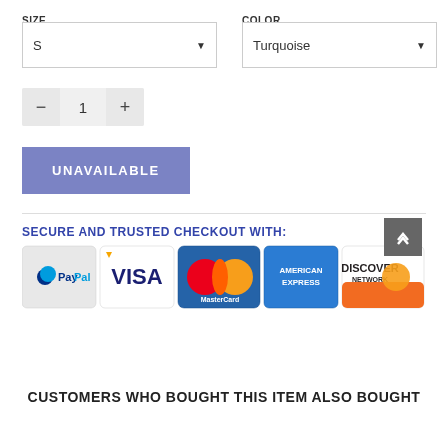SIZE
COLOR
S
Turquoise
− 1 +
UNAVAILABLE
SECURE AND TRUSTED CHECKOUT WITH:
[Figure (other): Payment method logos: PayPal, Visa, MasterCard, American Express, Discover Network]
CUSTOMERS WHO BOUGHT THIS ITEM ALSO BOUGHT